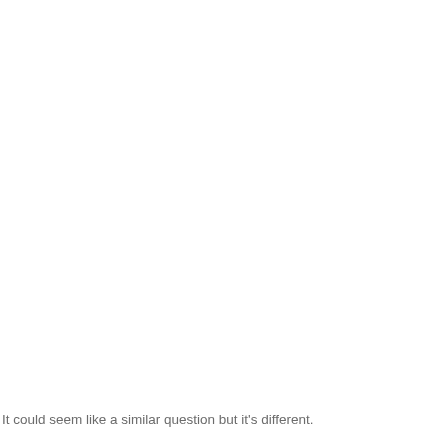It could seem like a similar question but it's different.